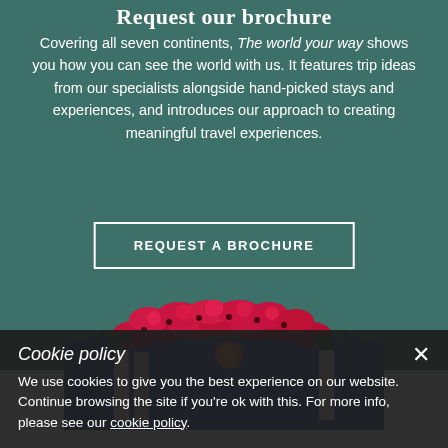Request our brochure
Covering all seven continents, The world your way shows you how you can see the world with us. It features trip ideas from our specialists alongside hand-picked stays and experiences, and introduces our approach to creating meaningful travel experiences.
REQUEST A BROCHURE
[Figure (photo): A brochure box with pink/red flowers on top, partially visible, with blue brochure covers inside, on a teal background.]
Cookie policy
We use cookies to give you the best experience on our website. Continue browsing the site if you're ok with this. For more info, please see our cookie policy.